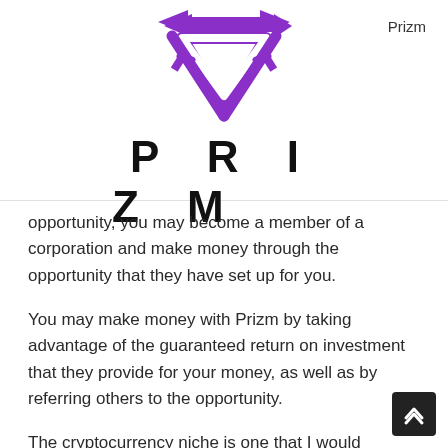Prizm
[Figure (logo): Prizm logo: purple inverted triangle / arrow symbol above the word PRIZM in large bold black letters with wide letter spacing]
opportunity, you may become a member of a corporation and make money through the opportunity that they have set up for you.
You may make money with Prizm by taking advantage of the guaranteed return on investment that they provide for your money, as well as by referring others to the opportunity.
The cryptocurrency niche is one that I would consider Prizm to be a part of.